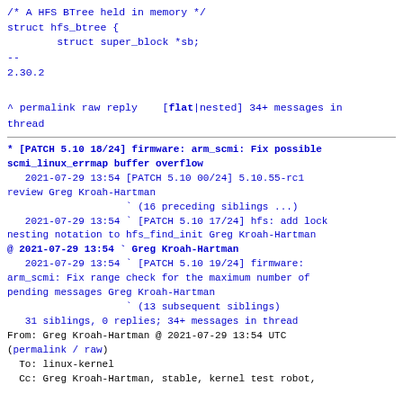/* A HFS BTree held in memory */
struct hfs_btree {
        struct super_block *sb;
--
2.30.2
^ permalink raw reply    [flat|nested] 34+ messages in thread
* [PATCH 5.10 18/24] firmware: arm_scmi: Fix possible scmi_linux_errmap buffer overflow
   2021-07-29 13:54 [PATCH 5.10 00/24] 5.10.55-rc1 review Greg Kroah-Hartman
                    ` (16 preceding siblings ...)
   2021-07-29 13:54 ` [PATCH 5.10 17/24] hfs: add lock nesting notation to hfs_find_init Greg Kroah-Hartman
@ 2021-07-29 13:54 ` Greg Kroah-Hartman
   2021-07-29 13:54   ` [PATCH 5.10 19/24] firmware: arm_scmi: Fix range check for the maximum number of pending messages Greg Kroah-Hartman
                    ` (13 subsequent siblings)
   31 siblings, 0 replies; 34+ messages in thread
From: Greg Kroah-Hartman @ 2021-07-29 13:54 UTC
(permalink / raw)
  To: linux-kernel
  Cc: Greg Kroah-Hartman, stable, kernel test robot,